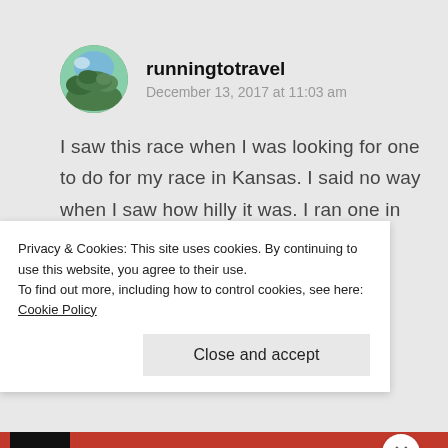runningtotravel
December 13, 2017 at 11:03 am
I saw this race when I was looking for one to do for my race in Kansas. I said no way when I saw how hilly it was. I ran one in Olathe instead (basically a suburb of Kansas City).
Privacy & Cookies: This site uses cookies. By continuing to use this website, you agree to their use.
To find out more, including how to control cookies, see here: Cookie Policy
Close and accept